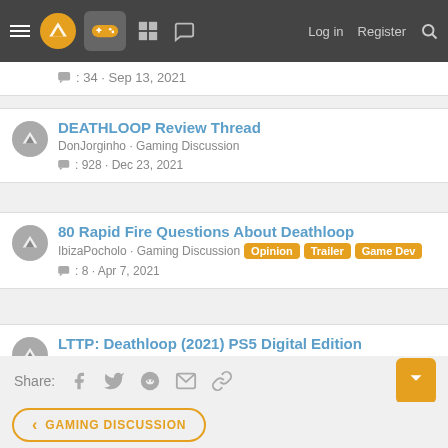Navigation bar with logo, gamepad icon, grid icon, chat icon, Log in, Register, Search
: 34 · Sep 13, 2021
DEATHLOOP Review Thread · DonJorginho · Gaming Discussion · : 928 · Dec 23, 2021
80 Rapid Fire Questions About Deathloop · IbizaPocholo · Gaming Discussion · [Opinion] [Trailer] [Game Dev] · : 8 · Apr 7, 2021
LTTP: Deathloop (2021) PS5 Digital Edition · EverydayBeast · Gaming Discussion · : 16 · Jan 5, 2022
Share:
< GAMING DISCUSSION